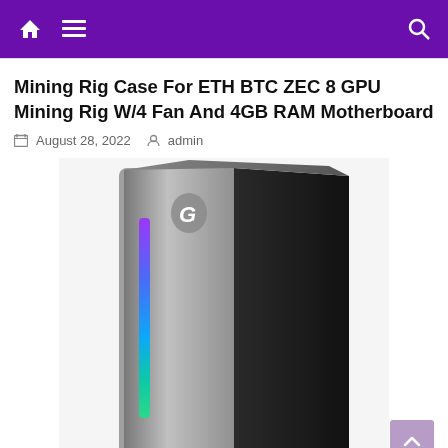Navigation bar with home, menu, and search icons
Mining Rig Case For ETH BTC ZEC 8 GPU Mining Rig W/4 Fan And 4GB RAM Motherboard
August 28, 2022  admin
[Figure (photo): Photo of a Segotep ATX PC Case Mid Tower Gaming Case with RGB front panel lighting strips in purple, blue, and teal colors on a silver/gunmetal chassis with a black side panel.]
Segotep ATX PC Case Mid Tower Gaming Case RGB Front Panel